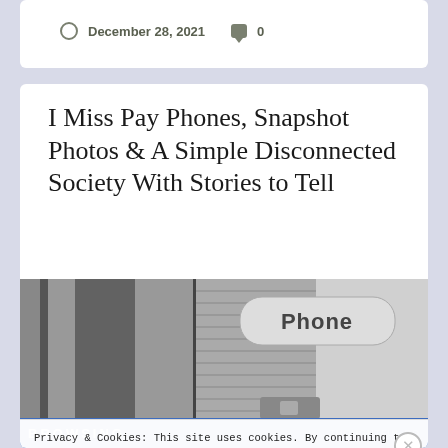December 28, 2021  0
I Miss Pay Phones, Snapshot Photos & A Simple Disconnected Society With Stories to Tell
[Figure (photo): Black and white photo of a pay phone booth with 'Phone' sign on a rounded rectangular display, brick wall visible in background]
Privacy & Cookies: This site uses cookies. By continuing to use this website, you agree to their use.
To find out more, including how to control cookies, see here: Cookie Policy
Close and accept